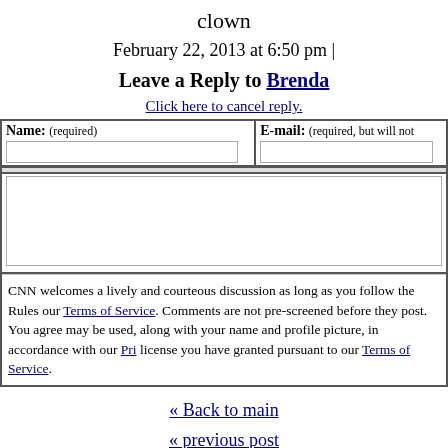clown
February 22, 2013 at 6:50 pm |
Leave a Reply to Brenda
Click here to cancel reply.
| Name: (required) | E-mail: (required, but will not) |
| --- | --- |
| [input field] | [input field] |
CNN welcomes a lively and courteous discussion as long as you follow the Rules our Terms of Service. Comments are not pre-screened before they post. You agree may be used, along with your name and profile picture, in accordance with our Pri license you have granted pursuant to our Terms of Service.
« Back to main
« previous post
next post »